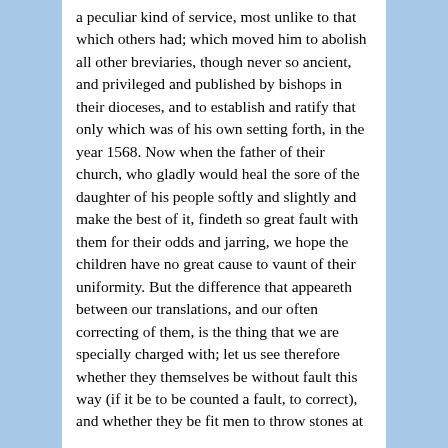a peculiar kind of service, most unlike to that which others had; which moved him to abolish all other breviaries, though never so ancient, and privileged and published by bishops in their dioceses, and to establish and ratify that only which was of his own setting forth, in the year 1568. Now when the father of their church, who gladly would heal the sore of the daughter of his people softly and slightly and make the best of it, findeth so great fault with them for their odds and jarring, we hope the children have no great cause to vaunt of their uniformity. But the difference that appeareth between our translations, and our often correcting of them, is the thing that we are specially charged with; let us see therefore whether they themselves be without fault this way (if it be to be counted a fault, to correct), and whether they be fit men to throw stones at